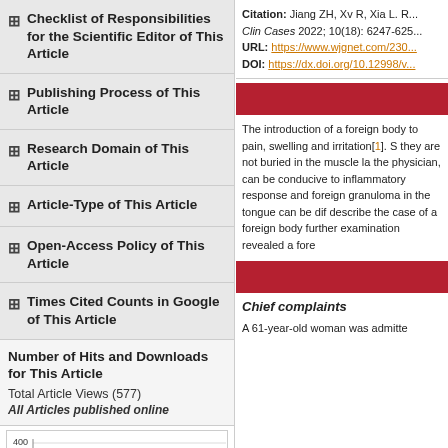+ Checklist of Responsibilities for the Scientific Editor of This Article
+ Publishing Process of This Article
+ Research Domain of This Article
+ Article-Type of This Article
+ Open-Access Policy of This Article
+ Times Cited Counts in Google of This Article
Number of Hits and Downloads for This Article
Total Article Views (577)
All Articles published online
[Figure (bar-chart): Article views]
Citation: Jiang ZH, Xv R, Xia L. R... Clin Cases 2022; 10(18): 6247-625...
URL: https://www.wjgnet.com/230...
DOI: https://dx.doi.org/10.12998/v...
The introduction of a foreign body to pain, swelling and irritation[1]. S they are not buried in the muscle la the physician, can be conducive to inflammatory response and foreign granuloma in the tongue can be dif describe the case of a foreign body further examination revealed a fore
Chief complaints
A 61-year-old woman was admitte